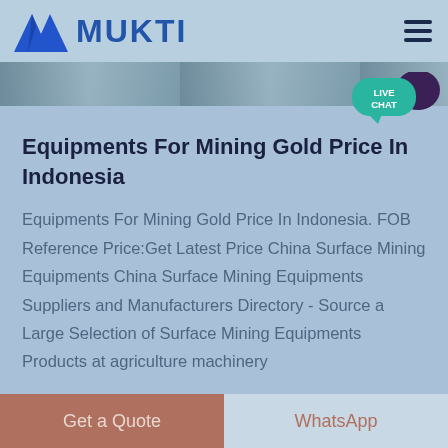MUKTI
[Figure (screenshot): Banner image strip showing a landscape/machinery scene]
[Figure (other): Live Chat badge - teal speech bubble with text LIVE CHAT and dark purple decorative bubble]
Equipments For Mining Gold Price In Indonesia
Equipments For Mining Gold Price In Indonesia. FOB Reference Price:Get Latest Price China Surface Mining Equipments China Surface Mining Equipments Suppliers and Manufacturers Directory - Source a Large Selection of Surface Mining Equipments Products at agriculture machinery
Get a Quote | WhatsApp